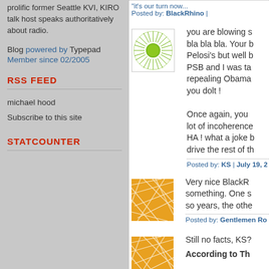prolific former Seattle KVI, KIRO talk host speaks authoritatively about radio.
Blog powered by Typepad Member since 02/2005
RSS FEED
michael hood
Subscribe to this site
STATCOUNTER
it's our turn now...
Posted by: BlackRhino |
[Figure (illustration): Green sunburst/mandala avatar icon on white background]
you are blowing s bla bla bla. Your b Pelosi's but well b PSB and I was ta repealing Obama you dolt !

Once again, you lot of incoherence HA ! what a joke b drive the rest of th
Posted by: KS | July 19, 2
[Figure (illustration): Orange geometric mesh/web pattern avatar]
Very nice BlackR something. One s so years, the othe
Posted by: Gentlemen Ro
[Figure (illustration): Orange geometric mesh/web pattern avatar]
Still no facts, KS?
According to Th